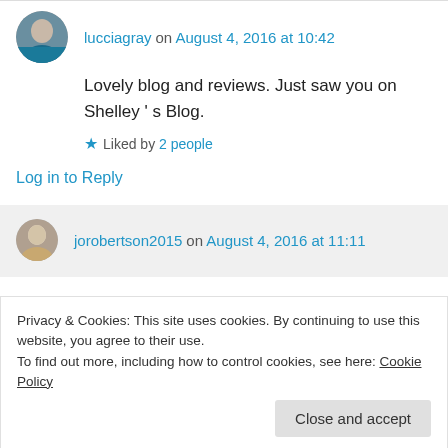lucciagray on August 4, 2016 at 10:42
Lovely blog and reviews. Just saw you on Shelley ' s Blog.
Liked by 2 people
Log in to Reply
jorobertson2015 on August 4, 2016 at 11:11
Privacy & Cookies: This site uses cookies. By continuing to use this website, you agree to their use.
To find out more, including how to control cookies, see here: Cookie Policy
Close and accept
Log in to Reply